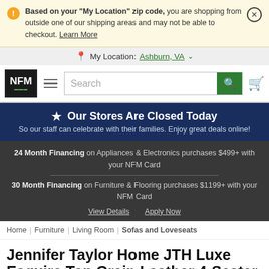Based on your "My Location" zip code, you are shopping from outside one of our shipping areas and may not be able to checkout. Learn More
My Location: Ashburn, VA
[Figure (logo): NFM logo with hamburger menu, search bar, and cart icon navigation bar]
Our Stores Are Closed Today
So our staff can celebrate with their families. Enjoy great deals online!
24 Month Financing on Appliances & Electronics purchases $499+ with your NFM Card
30 Month Financing on Furniture & Flooring purchases $1199+ with your NFM Card
View Details    Apply Now
Home | Furniture | Living Room | Sofas and Loveseats
Jennifer Taylor Home JTH Luxe Esquire Top Grain Leather 4-Seater Sectional Sofa